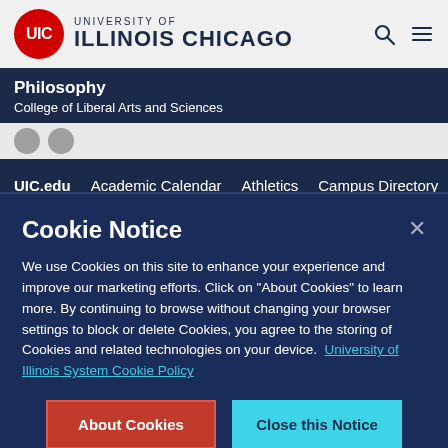[Figure (logo): University of Illinois Chicago logo with red circle UIC emblem and text]
Philosophy
College of Liberal Arts and Sciences
UIC.edu  Academic Calendar  Athletics  Campus Directory
Cookie Notice
We use Cookies on this site to enhance your experience and improve our marketing efforts. Click on “About Cookies” to learn more. By continuing to browse without changing your browser settings to block or delete Cookies, you agree to the storing of Cookies and related technologies on your device.  University of Illinois System Cookie Policy
About Cookies
Close this Notice